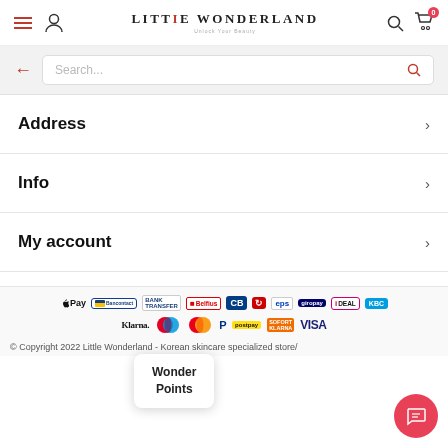Little Wonderland - Unlock Your Beauty
Search...
Address
Info
My account
[Figure (logo): Payment method logos: Apple Pay, Bancontact, Bank Transfer, Belfius, CB, Dankort, eps, Giropay, iDEAL, KBC, Klarna, Maestro, Mastercard, PayPal, Postpay, Sofort, Visa]
© Copyright 2022 Little Wonderland - Korean skincare specialized store/
Wonder Points